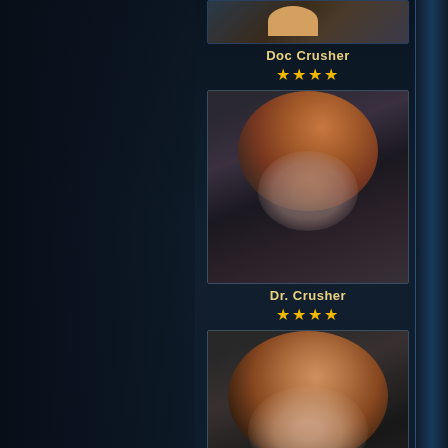[Figure (illustration): Partially visible top card showing Doc Crusher, illustrated/comic art style character]
Doc Crusher
★★★★
[Figure (illustration): Card portrait of Dr. Crusher, showing a woman with reddish-blonde hair in a dark uniform, realistic art style]
Dr. Crusher
★★★★
[Figure (illustration): Card portrait of Dress Uniform Beverly Crusher, showing a woman with auburn hair in a white and grey dress uniform]
Dress Uniform Beverly Crusher